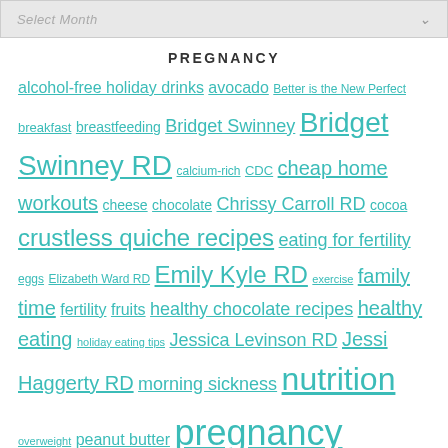Select Month
PREGNANCY
alcohol-free holiday drinks avocado Better is the New Perfect breakfast breastfeeding Bridget Swinney Bridget Swinney RD calcium-rich CDC cheap home workouts cheese chocolate Chrissy Carroll RD cocoa crustless quiche recipes eating for fertility eggs Elizabeth Ward RD Emily Kyle RD exercise family time fertility fruits healthy chocolate recipes healthy eating holiday eating tips Jessica Levinson RD Jessi Haggerty RD morning sickness nutrition overweight peanut butter pregnancy pregnancy nutrition prenatal nutrition prenatal vitamin salmon screen-free activities seafood Trying to Conceive Twelve days of Christmas vegetables veggies ways to stay on track